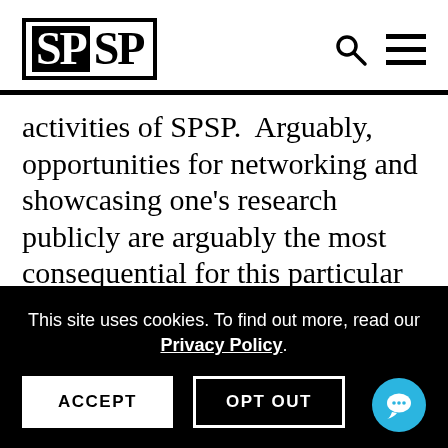SPSP
activities of SPSP.  Arguably, opportunities for networking and showcasing one's research publicly are arguably the most consequential for this particular constituency. In turn, ECs are the future of our discipline so as SPSP,
This site uses cookies. To find out more, read our Privacy Policy.
ACCEPT
OPT OUT